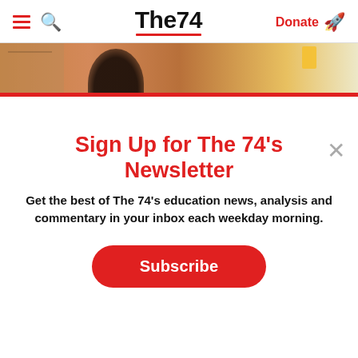The74 — Donate
[Figure (photo): Partial view of a classroom scene with a person's head visible against an orange/tan background, partially cropped by a red bar overlay]
×
Sign Up for The 74's Newsletter
Get the best of The 74's education news, analysis and commentary in your inbox each weekday morning.
Subscribe